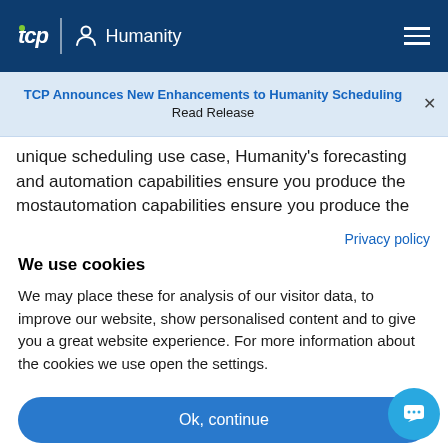tcp | Humanity
TCP Announces New Enhancements to Humanity Scheduling Read Release
unique scheduling use case, Humanity's forecasting and automation capabilities ensure you produce the most
Privacy policy
We use cookies
We may place these for analysis of our visitor data, to improve our website, show personalised content and to give you a great website experience. For more information about the cookies we use open the settings.
Ok, continue
Deny
No, adjust